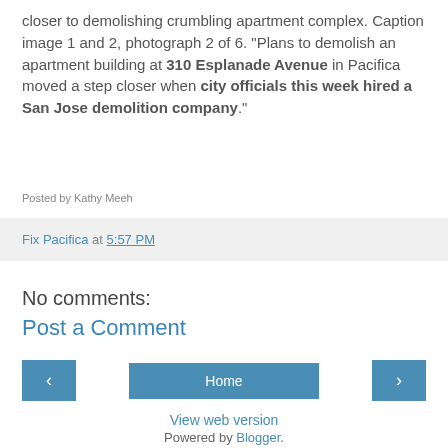closer to demolishing crumbling apartment complex. Caption image 1 and 2, photograph 2 of 6. "Plans to demolish an apartment building at 310 Esplanade Avenue in Pacifica moved a step closer when city officials this week hired a San Jose demolition company."
Posted by Kathy Meeh
Fix Pacifica at 5:57 PM
No comments:
Post a Comment
Home
View web version
Powered by Blogger.